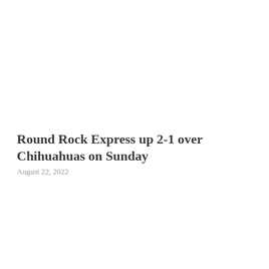Round Rock Express up 2-1 over Chihuahuas on Sunday
August 22, 2022